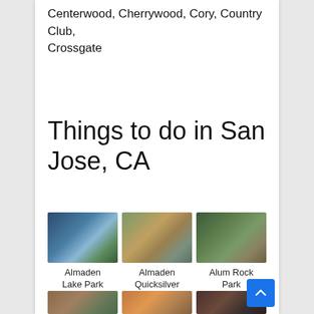Centerwood, Cherrywood, Cory, Country Club, Crossgate
Things to do in San Jose, CA
[Figure (photo): Three photos of San Jose attractions: Almaden Lake Park, Almaden Quicksilver County Park, Alum Rock Park]
Almaden Lake Park
Almaden Quicksilver County Park
Alum Rock Park
[Figure (photo): Three more attraction photos (partially visible at bottom)]